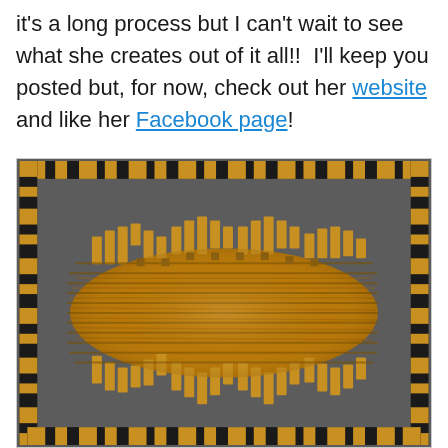it's a long process but I can't wait to see what she creates out of it all!!  I'll keep you posted but, for now, check out her website and like her Facebook page!
[Figure (photo): A decorative wooden art piece featuring interlocking wooden blocks arranged in a wave/castle-battlement pattern in the center, with a border of alternating black and golden wooden blocks forming a frame, all set against a dark gray background.]